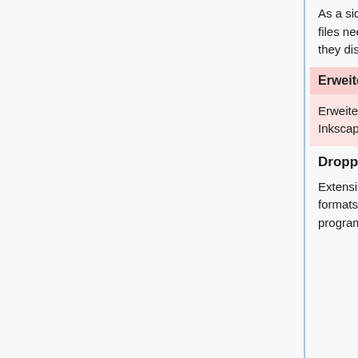As a side effect of a bug fix to the icon preview dialog (see below), custom UI icon SVG files need to be updated to have their background color alpha channel set to 0 so that they display correctly (see Issue #1661989 (lp)).
Erweiterungen von Drittanbietern
Erweiterungen von Drittanbietern müssen aktualisiert werden, damit sie mit dieser Inkscape-Version funktionieren.
Dropped / Replaced Extensions
Extensions that previously used the UniConvertor library for saving/opening various file formats have been removed, as well as some extensions that depended on third-party programs: